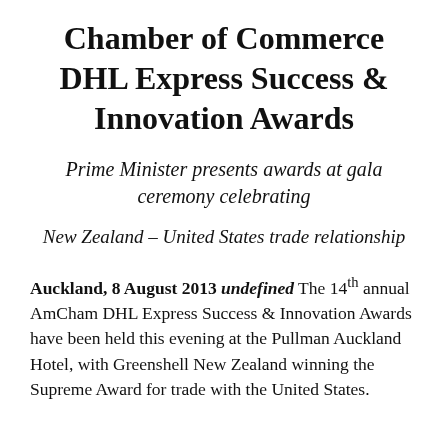Chamber of Commerce DHL Express Success & Innovation Awards
Prime Minister presents awards at gala ceremony celebrating
New Zealand – United States trade relationship
Auckland, 8 August 2013 undefined The 14th annual AmCham DHL Express Success & Innovation Awards have been held this evening at the Pullman Auckland Hotel, with Greenshell New Zealand winning the Supreme Award for trade with the United States.